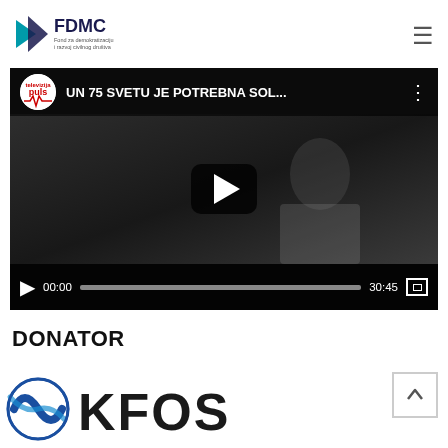[Figure (logo): FDMC organization logo with teal/dark blue arrow icon and text]
[Figure (screenshot): YouTube video player showing 'UN 75 SVETU JE POTREBNA SOL...' with play button, time 00:00 and duration 30:45, channel icon 'televizija puls']
DONATOR
[Figure (logo): KFOS logo with blue spiral/globe icon and large KFOS text]